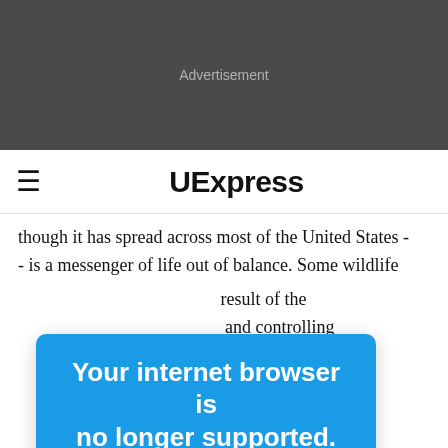[Figure (other): Advertisement banner area with dark gray background]
≡  UExpress
though it has spread across most of the United States - - is a messenger of life out of balance. Some wildlife result of the and controlling ross America, rs and have been destroyed (by logging, mining, etc.) as state and
Your internet browser is no longer supported.

To get the best experience on our site, we recommend you upgrade to the latest version.